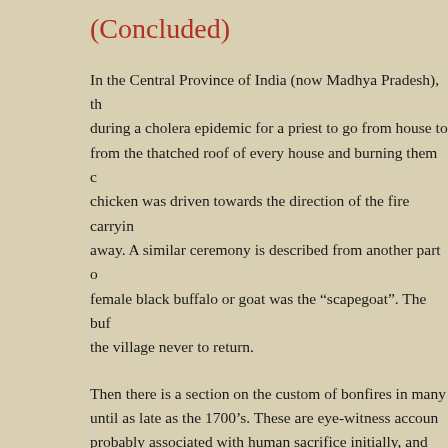(Concluded)
In the Central Province of India (now Madhya Pradesh), th during a cholera epidemic for a priest to go from house to from the thatched roof of every house and burning them c chicken was driven towards the direction of the fire carryin away. A similar ceremony is described from another part o female black buffalo or goat was the “scapegoat”. The buf the village never to return.
Then there is a section on the custom of bonfires in many until as late as the 1700’s. These are eye-witness accoun probably associated with human sacrifice initially, and the chasing away the victim chosen for this occasion, every y I have witnessed “sokkappanai”, which was probably mea spirits)
In his description of the bonfires, one can see practices lik the Vedas such as starting a new fire each year by churni wood with another and then maintaining it till next year in